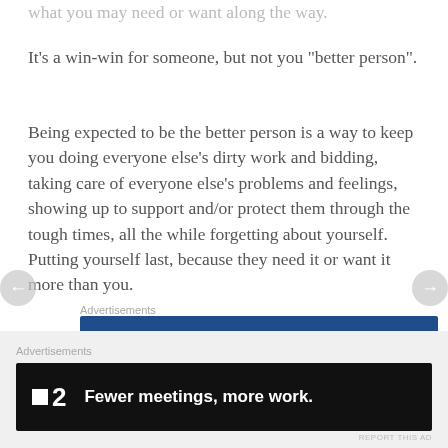what you may need or want along the way.
It’s a win-win for someone, but not you “better person”.
Being expected to be the better person is a way to keep you doing everyone else’s dirty work and bidding, taking care of everyone else’s problems and feelings, showing up to support and/or protect them through the tough times, all the while forgetting about yourself. Putting yourself last, because they need it or want it more than you.
Advertisements
[Figure (screenshot): WordPress.com advertisement banner with blue background, WordPress logo, site name, and pink 'Build Your Website' button]
Advertisements
[Figure (screenshot): F2 advertisement banner with black background showing logo and tagline 'Fewer meetings, more work.']